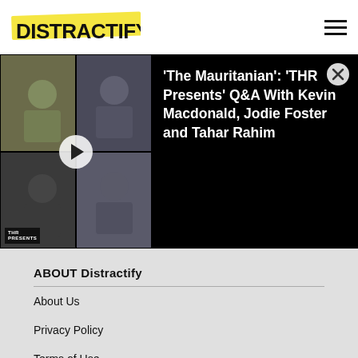DISTRACTIFY
[Figure (screenshot): Video thumbnail showing four people in a 2x2 grid video call layout with a play button overlay. Text: 'The Mauritanian': 'THR Presents' Q&A With Kevin Macdonald, Jodie Foster and Tahar Rahim]
ABOUT Distractify
About Us
Privacy Policy
Terms of Use
DMCA
Sitemap
CONNECT with Distractify